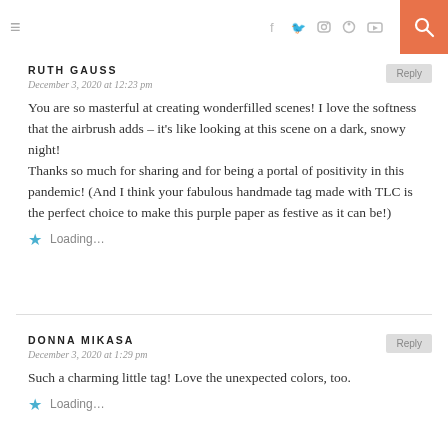≡  [social icons: f, Twitter, Instagram, Pinterest, YouTube]  [search]
RUTH GAUSS
December 3, 2020 at 12:23 pm
You are so masterful at creating wonderfilled scenes! I love the softness that the airbrush adds – it's like looking at this scene on a dark, snowy night!
Thanks so much for sharing and for being a portal of positivity in this pandemic! (And I think your fabulous handmade tag made with TLC is the perfect choice to make this purple paper as festive as it can be!)
Loading...
DONNA MIKASA
December 3, 2020 at 1:29 pm
Such a charming little tag! Love the unexpected colors, too.
Loading...